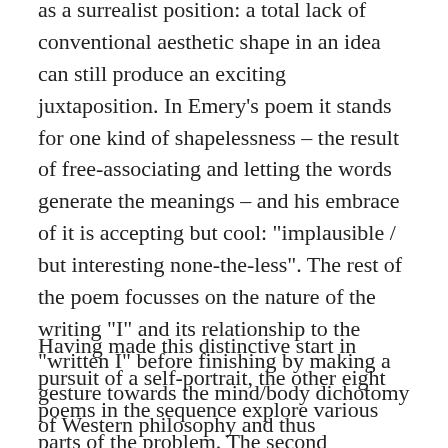as a surrealist position: a total lack of conventional aesthetic shape in an idea can still produce an exciting juxtaposition. In Emery's poem it stands for one kind of shapelessness – the result of free-associating and letting the words generate the meanings – and his embrace of it is accepting but cool: “implausible / but interesting none-the-less”. The rest of the poem focusses on the nature of the writing “I” and its relationship to the “written I” before finishing by making a gesture towards the mind/body dichotomy of Western philosophy and thus introducing one of Emery’s persistent themes: What is the mind and how does it work?
Having made this distinctive start in pursuit of a self-portrait, the other eight poems in the sequence explore various parts of the problem. The second